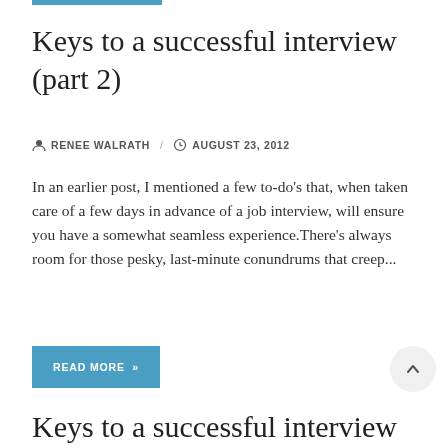Keys to a successful interview (part 2)
RENEE WALRATH / AUGUST 23, 2012
In an earlier post, I mentioned a few to-do's that, when taken care of a few days in advance of a job interview, will ensure you have a somewhat seamless experience.There's always room for those pesky, last-minute conundrums that creep...
READ MORE »
Keys to a successful interview (part 1)